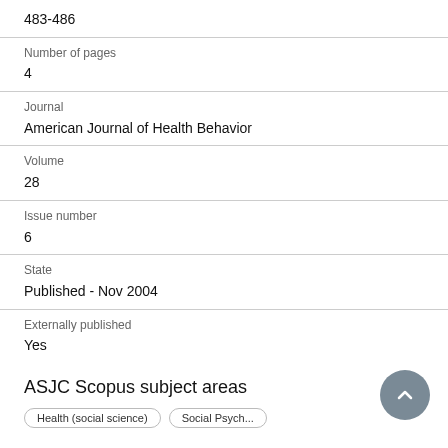483-486
Number of pages
4
Journal
American Journal of Health Behavior
Volume
28
Issue number
6
State
Published - Nov 2004
Externally published
Yes
ASJC Scopus subject areas
Health (social science)
Social Psychology